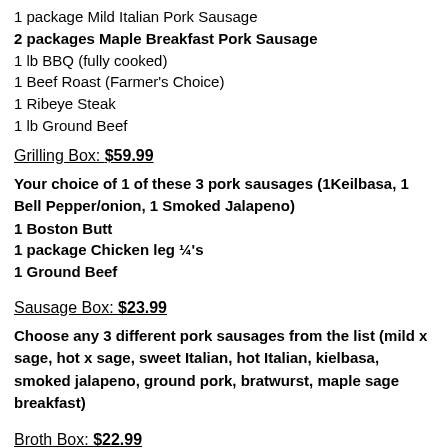1 package Mild Italian Pork Sausage
2 packages Maple Breakfast Pork Sausage
1 lb BBQ (fully cooked)
1 Beef Roast (Farmer's Choice)
1 Ribeye Steak
1 lb Ground Beef
Grilling Box: $59.99
Your choice of 1 of these 3 pork sausages (1Keilbasa, 1 Bell Pepper/onion, 1 Smoked Jalapeno)
1 Boston Butt
1 package Chicken leg ¼'s
1 Ground Beef
Sausage Box: $23.99
Choose any 3 different pork sausages from the list (mild x sage, hot x sage, sweet Italian, hot Italian, kielbasa, smoked jalapeno, ground pork, bratwurst, maple sage breakfast)
Broth Box: $22.99
1 package Pork Neckbones